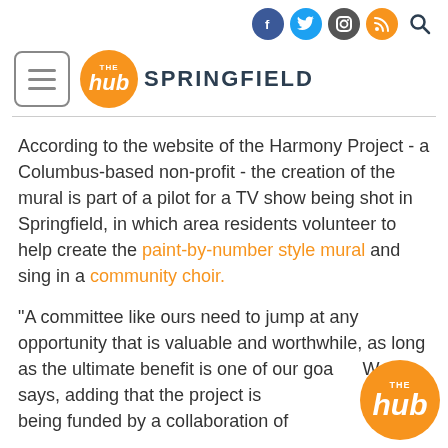[Figure (logo): The Hub Springfield website header with social media icons (Facebook, Twitter, Instagram, RSS, Search), hamburger menu button, orange circular Hub logo, and SPRINGFIELD text]
According to the website of the Harmony Project - a Columbus-based non-profit - the creation of the mural is part of a pilot for a TV show being shot in Springfield, in which area residents volunteer to help create the paint-by-number style mural and sing in a community choir.
"A committee like ours need to jump at any opportunity that is valuable and worthwhile, as long as the ultimate benefit is one of our goals," Wojcik says, adding that the project is being funded by a collaboration of